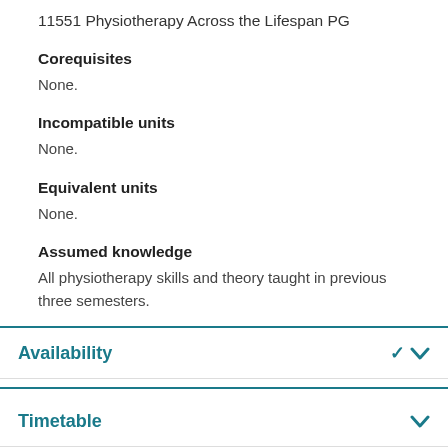11551 Physiotherapy Across the Lifespan PG
Corequisites
None.
Incompatible units
None.
Equivalent units
None.
Assumed knowledge
All physiotherapy skills and theory taught in previous three semesters.
Availability
Timetable